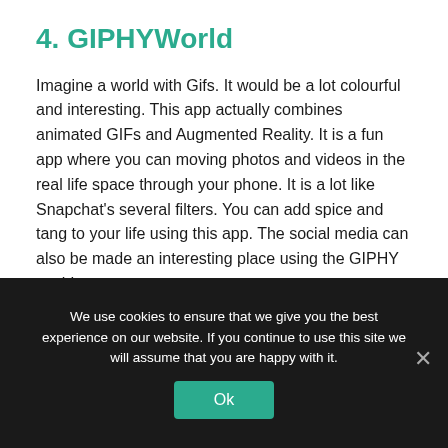4. GIPHYWorld
Imagine a world with Gifs. It would be a lot colourful and interesting. This app actually combines animated GIFs and Augmented Reality. It is a fun app where you can moving photos and videos in the real life space through your phone. It is a lot like Snapchat's several filters. You can add spice and tang to your life using this app. The social media can also be made an interesting place using the GIPHY world.
5. GoogleLens
We use cookies to ensure that we give you the best experience on our website. If you continue to use this site we will assume that you are happy with it.